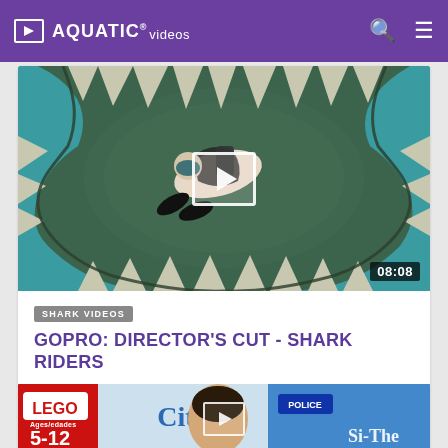AQUATIC® videos
[Figure (screenshot): Underwater video thumbnail showing a snorkeler/diver viewed from below through an oval shark-mouth shaped frame, with coral reef visible. Play button overlay in center. Duration badge shows 08:08 in bottom right.]
SHARK VIDEOS
GOPRO: DIRECTOR'S CUT - SHARK RIDERS
♥ 79,046 likes  |  👁 15,845,045 views  |  🕐 9 years ago
Shot 100% on the new Dive Housing & HD HERO2® camera from http://GoPro.com The Director's Cut dives deeper into the...
[Figure (screenshot): Partial thumbnail of a Lego City video showing a boy's face, Lego City logo, police set, ages 5-12, and partial text 'Si-The']